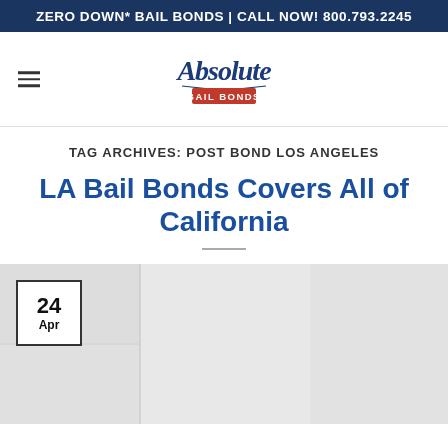ZERO DOWN* BAIL BONDS | CALL NOW! 800.793.2245
[Figure (logo): Absolute Bail Bonds logo in blue and red script lettering]
TAG ARCHIVES: POST BOND LOS ANGELES
LA Bail Bonds Covers All of California
[Figure (photo): Blog post card image with date box showing 24 Apr, faded gray background image]